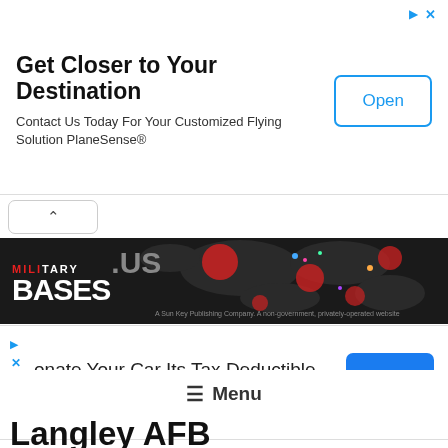[Figure (screenshot): Advertisement banner: Get Closer to Your Destination - PlaneSense private flying solution with Open button]
[Figure (logo): Military Bases .US logo banner with world map background]
[Figure (screenshot): Advertisement: Donate Your Car Its Tax Deductible. Help Purple Heart Vets, Free Towing with OPEN button]
≡ Menu
Langley AFB